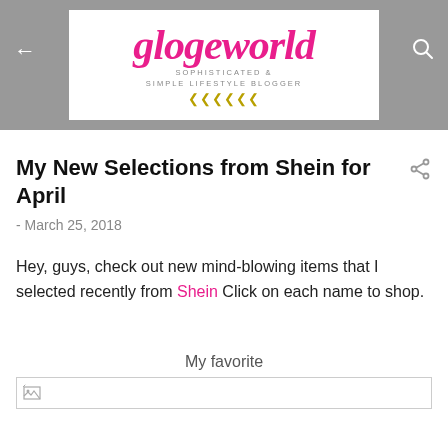glogeworld — SOPHISTICATED & SIMPLE LIFESTYLE BLOGGER
My New Selections from Shein for April
- March 25, 2018
Hey, guys, check out new mind-blowing items that I selected recently from Shein Click on each name to shop.
My favorite
[Figure (photo): Broken image placeholder at the bottom of the post]